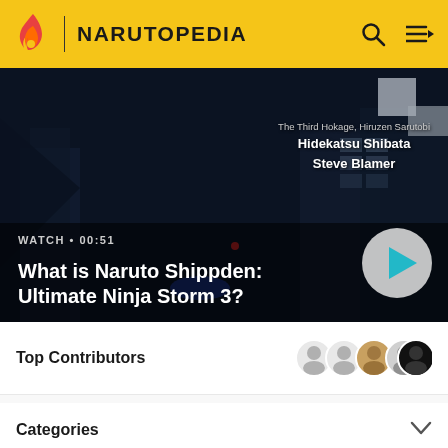NARUTOPEDIA
[Figure (screenshot): Dark video thumbnail showing a ninja scene from Naruto Shippuden: Ultimate Ninja Storm 3, with credits showing 'The Third Hokage, Hiruzen Sarutobi / Hidekatsu Shibata / Steve Blamer', a WATCH • 00:51 label, and a circular play button]
What is Naruto Shippden: Ultimate Ninja Storm 3?
Top Contributors
Categories
Other Languages: